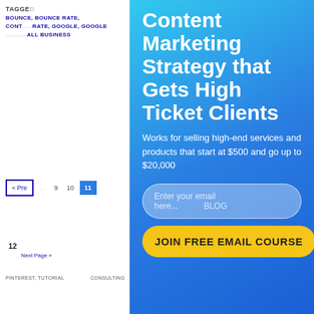TAGGED
BOUNCE, BOUNCE RATE, CONT... ...RATE, GOOGLE, GOOGLE ...ALL BUSINESS
[Figure (infographic): A gradient blue popup overlay promoting a 'Content Marketing Strategy that Gets High Ticket Clients' email course, with email input field and yellow JOIN FREE EMAIL COURSE button]
Content Marketing Strategy that Gets High Ticket Clients
Works for selling high-end services and products that start at $500 and go up to $20,000
Enter your email here...
JOIN FREE EMAIL COURSE
« Pre
9  10  11
12
Next Page »